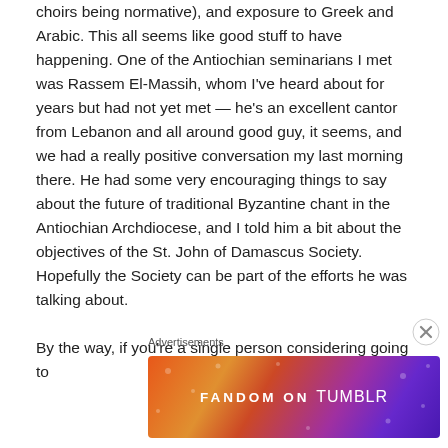choirs being normative), and exposure to Greek and Arabic. This all seems like good stuff to have happening. One of the Antiochian seminarians I met was Rassem El-Massih, whom I've heard about for years but had not yet met — he's an excellent cantor from Lebanon and all around good guy, it seems, and we had a really positive conversation my last morning there. He had some very encouraging things to say about the future of traditional Byzantine chant in the Antiochian Archdiocese, and I told him a bit about the objectives of the St. John of Damascus Society. Hopefully the Society can be part of the efforts he was talking about.

By the way, if you're a single person considering going to
Advertisements
[Figure (other): Fandom on Tumblr advertisement banner with colorful gradient background (orange to purple) and white bold text reading FANDOM ON tumblr]